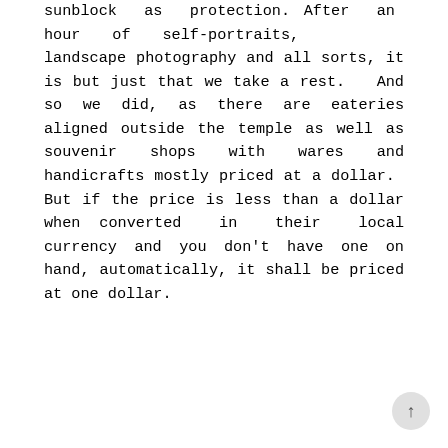sunblock as protection. After an hour of self-portraits, landscape photography and all sorts, it is but just that we take a rest. And so we did, as there are eateries aligned outside the temple as well as souvenir shops with wares and handicrafts mostly priced at a dollar. But if the price is less than a dollar when converted in their local currency and you don't have one on hand, automatically, it shall be priced at one dollar.